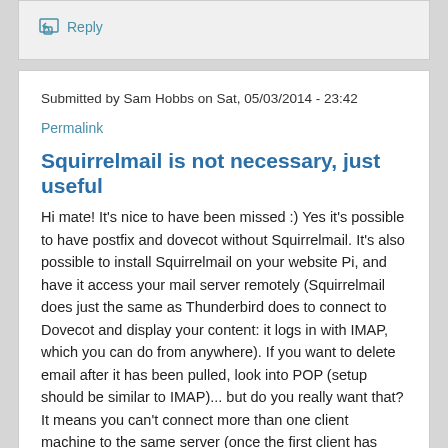Reply
Submitted by Sam Hobbs on Sat, 05/03/2014 - 23:42
Permalink
Squirrelmail is not necessary, just useful
Hi mate! It's nice to have been missed :) Yes it's possible to have postfix and dovecot without Squirrelmail. It's also possible to install Squirrelmail on your website Pi, and have it access your mail server remotely (Squirrelmail does just the same as Thunderbird does to connect to Dovecot and display your content: it logs in with IMAP, which you can do from anywhere). If you want to delete email after it has been pulled, look into POP (setup should be similar to IMAP)... but do you really want that? It means you can't connect more than one client machine to the same server (once the first client has received the message, it won't be there for the second client). You could also configure a gateway proxy on the website Pi to forward traffic to your mail server Pi... but don't change things